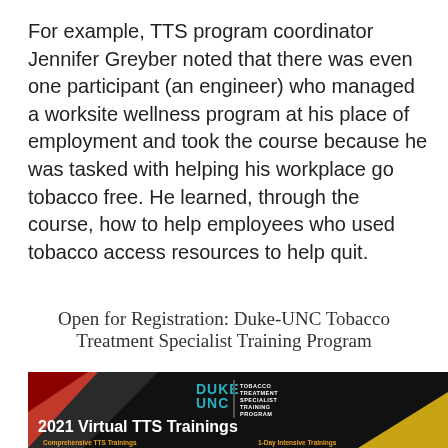For example, TTS program coordinator Jennifer Greyber noted that there was even one participant (an engineer) who managed a worksite wellness program at his place of employment and took the course because he was tasked with helping his workplace go tobacco free. He learned, through the course, how to help employees who used tobacco access resources to help quit.
Open for Registration: Duke-UNC Tobacco Treatment Specialist Training Program
[Figure (infographic): Duke-UNC Tobacco Treatment Specialist Training Program banner showing 2021 Virtual TTS Trainings with Comprehensive TTS Trainings (28.75 CME hours) dates March 8-16 and June 7-15, and 1-Day Intensive Trainings including Tobacco Dependence Pharmacotherapy March 25 (7.5 CME hours) and Behavioral Approaches to Tobacco Treatment]